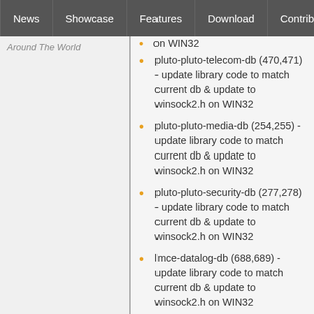News | Showcase | Features | Download | Contribute | Support
Around The World
on WIN32
pluto-pluto-telecom-db (470,471) - update library code to match current db & update to winsock2.h on WIN32
pluto-pluto-media-db (254,255) - update library code to match current db & update to winsock2.h on WIN32
pluto-pluto-security-db (277,278) - update library code to match current db & update to winsock2.h on WIN32
lmce-datalog-db (688,689) - update library code to match current db & update to winsock2.h on WIN32
lmce-game-db (675,676) - update library code to match current db & update to winsock2.h on WIN32
pluto-updateentarea (341,342) - don't send empty play command when resetting alarm